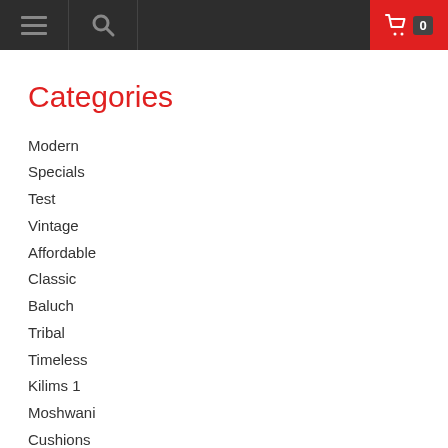Navigation bar with menu, search, and cart (0 items)
Categories
Modern
Specials
Test
Vintage
Affordable
Classic
Baluch
Tribal
Timeless
Kilims 1
Moshwani
Cushions
Chobi Rug
Kilims 2